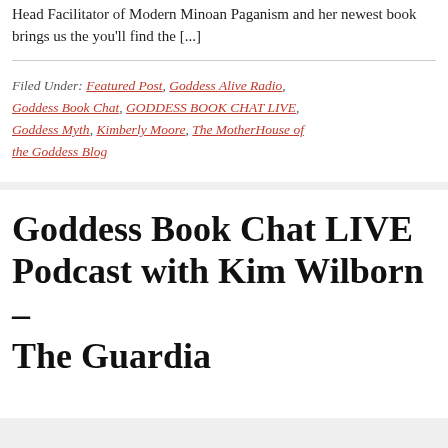Head Facilitator of Modern Minoan Paganism and her newest book brings us the you'll find the [...]
Filed Under: Featured Post, Goddess Alive Radio, Goddess Book Chat, GODDESS BOOK CHAT LIVE, Goddess Myth, Kimberly Moore, The MotherHouse of the Goddess Blog
Goddess Book Chat LIVE Podcast with Kim Wilborn – The Guardia...